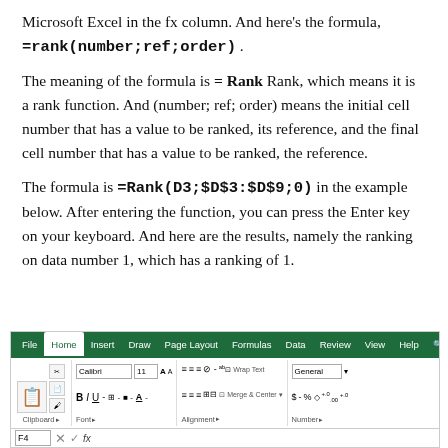Microsoft Excel in the fx column. And here's the formula, =rank(number;ref;order) .
The meaning of the formula is = Rank Rank, which means it is a rank function. And (number; ref; order) means the initial cell number that has a value to be ranked, its reference, and the final cell number that has a value to be ranked, the reference.
The formula is =Rank(D3;$D$3:$D$9;0) in the example below. After entering the function, you can press the Enter key on your keyboard. And here are the results, namely the ranking on data number 1, which has a ranking of 1.
[Figure (screenshot): Microsoft Excel ribbon screenshot showing Home tab active with File, Home, Insert, Draw, Page Layout, Formulas, Data, Review, View, Help tabs. Ribbon shows Clipboard, Font, Alignment, Number groups. Formula bar shows F4 cell reference.]